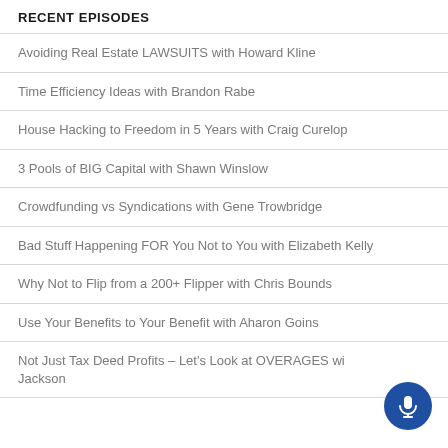RECENT EPISODES
Avoiding Real Estate LAWSUITS with Howard Kline
Time Efficiency Ideas with Brandon Rabe
House Hacking to Freedom in 5 Years with Craig Curelop
3 Pools of BIG Capital with Shawn Winslow
Crowdfunding vs Syndications with Gene Trowbridge
Bad Stuff Happening FOR You Not to You with Elizabeth Kelly
Why Not to Flip from a 200+ Flipper with Chris Bounds
Use Your Benefits to Your Benefit with Aharon Goins
Not Just Tax Deed Profits – Let's Look at OVERAGES with Jackson